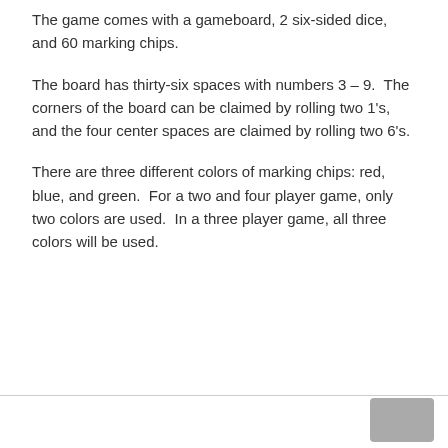The game comes with a gameboard, 2 six-sided dice, and 60 marking chips.
The board has thirty-six spaces with numbers 3 – 9.  The corners of the board can be claimed by rolling two 1's, and the four center spaces are claimed by rolling two 6's.
There are three different colors of marking chips: red, blue, and green.  For a two and four player game, only two colors are used.  In a three player game, all three colors will be used.